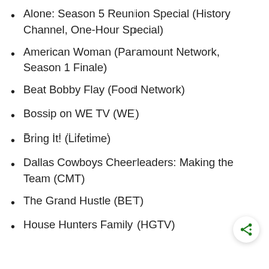Alone: Season 5 Reunion Special (History Channel, One-Hour Special)
American Woman (Paramount Network, Season 1 Finale)
Beat Bobby Flay (Food Network)
Bossip on WE TV (WE)
Bring It! (Lifetime)
Dallas Cowboys Cheerleaders: Making the Team (CMT)
The Grand Hustle (BET)
House Hunters Family (HGTV)